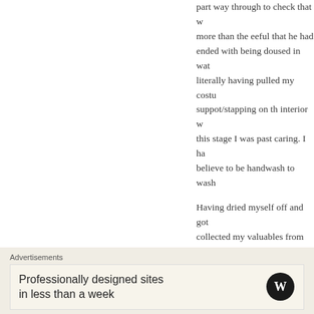part way through to check that w more than the eeful that he had ended with being doused in wat literally having pulled my costu suppot/stapping on th interior w this stage I was past caring. I h believe to be handwash to wash
Having dried myself off and got collected my valuables from the Ronnie – it was very quiet to be soaking in what we had just bee really wanted to share the frank experience that I had just endur to 'So, did you enjoy that?' We our complimentary tea (which w sure what to say to each other i Somehow the conversation...
Advertisements
Professionally designed sites in less than a week